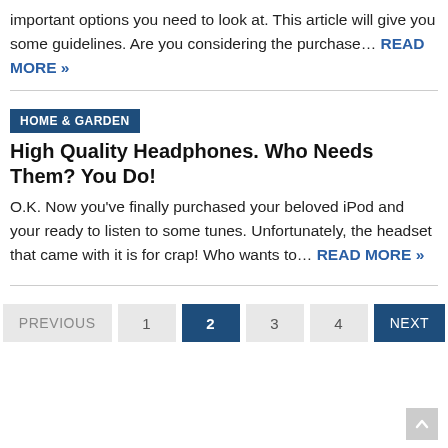important options you need to look at. This article will give you some guidelines. Are you considering the purchase… READ MORE »
HOME & GARDEN
High Quality Headphones. Who Needs Them? You Do!
O.K. Now you've finally purchased your beloved iPod and your ready to listen to some tunes. Unfortunately, the headset that came with it is for crap! Who wants to… READ MORE »
PREVIOUS  1  2  3  4  NEXT